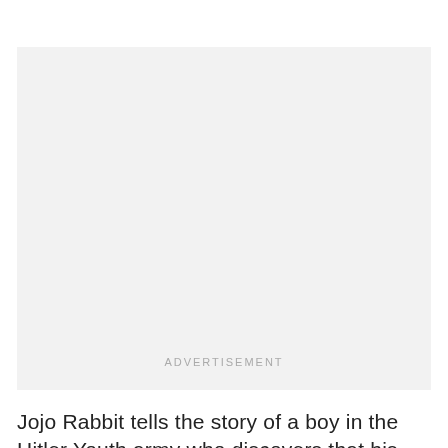[Figure (other): Advertisement placeholder box with light gray background and centered ADVERTISEMENT label text]
Jojo Rabbit tells the story of a boy in the Hitler Youth army who discovers that his mother is